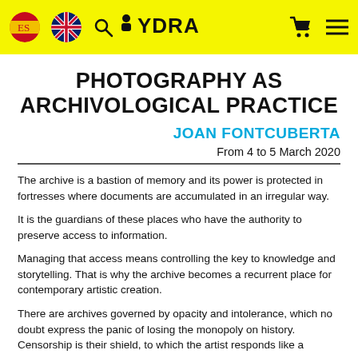[Figure (other): Website navigation header bar with yellow background, Spanish and UK flag icons, search icon, HYDRA brand logo, cart icon, and hamburger menu icon]
PHOTOGRAPHY AS ARCHIVOLOGICAL PRACTICE
JOAN FONTCUBERTA
From 4 to 5 March 2020
The archive is a bastion of memory and its power is protected in fortresses where documents are accumulated in an irregular way.
It is the guardians of these places who have the authority to preserve access to information.
Managing that access means controlling the key to knowledge and storytelling. That is why the archive becomes a recurrent place for contemporary artistic creation.
There are archives governed by opacity and intolerance, which no doubt express the panic of losing the monopoly on history. Censorship is their shield, to which the artist responds like a